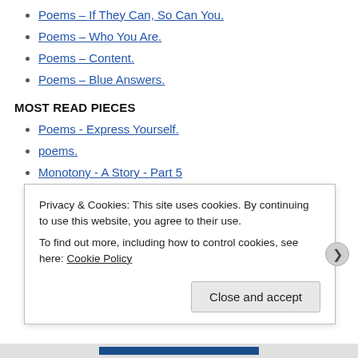Poems – If They Can, So Can You.
Poems – Who You Are.
Poems – Content.
Poems – Blue Answers.
MOST READ PIECES
Poems - Express Yourself.
poems.
Monotony - A Story - Part 5
Essential Egon - Self Portrait with Arm Twisted Above Head - 1910
Privacy & Cookies: This site uses cookies. By continuing to use this website, you agree to their use. To find out more, including how to control cookies, see here: Cookie Policy
Close and accept